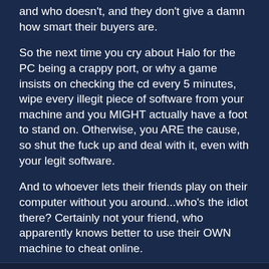and who doesn't, and they don't give a damn how smart their buyers are.
So the next time you cry about Halo for the PC being a crappy port, or why a game insists on checking the cd every 5 minutes, wipe every illegit piece of software from your machine and you MIGHT actually have a foot to stand on. Otherwise, you ARE the cause, so shut the fuck up and deal with it, even with your legit software.
And to whoever lets their friends play on their computer without you around...who's the idiot there? Certainly not your friend, who apparently knows better to use their OWN machine to cheat online.
Reply | Quote | Report
25. Re: Imaging CD — Zathrus, Feb 9, 2004, 08:58
I too got tired of all the crap involving switching